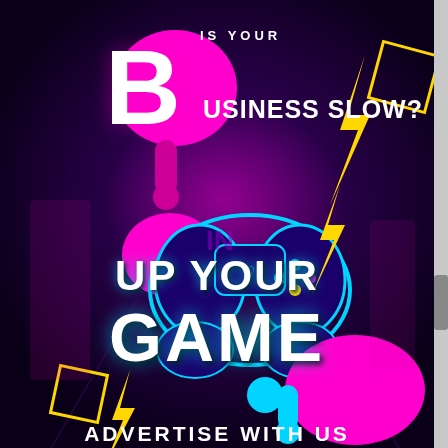[Figure (infographic): Gaming/advertising promotional graphic with dark purple background, neon colors (pink, cyan, yellow), game controller illustration, lightning bolts, paint blobs and drips. Text: IS YOUR BUSINESS SLOW? UP YOUR GAME. ADVERTISE WITH US]
IS YOUR BUSINESS SLOW?
UP YOUR GAME
ADVERTISE WITH US